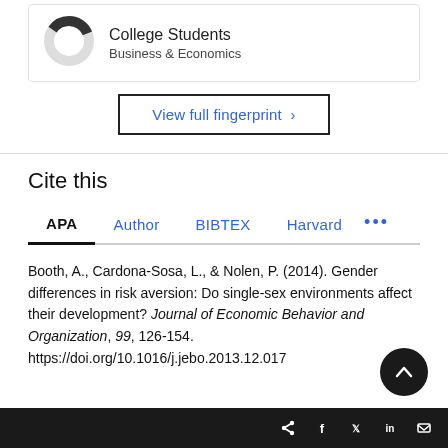[Figure (donut-chart): Partial donut/pie chart icon showing approximately 35% fill in dark color]
College Students
Business & Economics
View full fingerprint ›
Cite this
APA  Author  BIBTEX  Harvard  •••
Booth, A., Cardona-Sosa, L., & Nolen, P. (2014). Gender differences in risk aversion: Do single-sex environments affect their development? Journal of Economic Behavior and Organization, 99, 126-154. https://doi.org/10.1016/j.jebo.2013.12.017